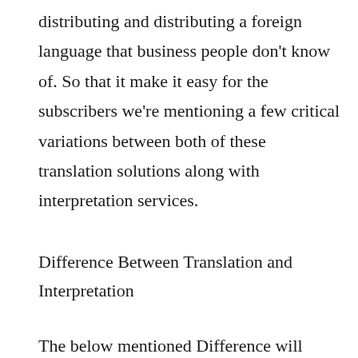distributing and distributing a foreign language that business people don't know of. So that it make it easy for the subscribers we're mentioning a few critical variations between both of these translation solutions along with interpretation services.
Difference Between Translation and Interpretation
The below mentioned Difference will